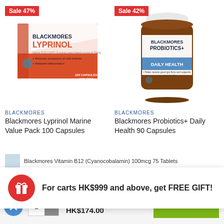[Figure (photo): Blackmores Lyprinol Marine Value Pack 100 Capsules product box with Sale 47% badge]
[Figure (photo): Blackmores Probiotics+ Daily Health 90 Capsules product bottle with Sale 42% badge]
BLACKMORES
Blackmores Lyprinol Marine Value Pack 100 Capsules
BLACKMORES
Blackmores Probiotics+ Daily Health 90 Capsules
For carts HK$999 and above, get FREE GIFT!
Blackmores Vitamin B12 (Cyanocobalamin) 100mcg 75 Tablets
HK$235.00
HK$174.00
ADD TO CART